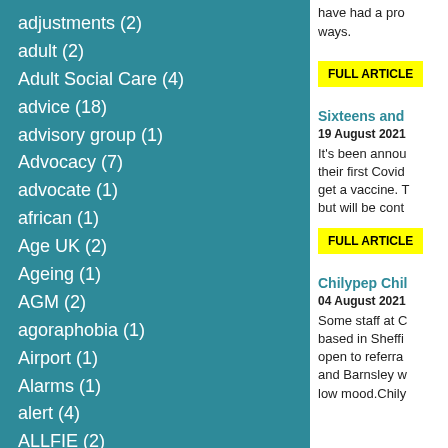adjustments (2)
adult (2)
Adult Social Care (4)
advice (18)
advisory group (1)
Advocacy (7)
advocate (1)
african (1)
Age UK (2)
Ageing (1)
AGM (2)
agoraphobia (1)
Airport (1)
Alarms (1)
alert (4)
ALLFIE (2)
allowance (1)
have had a pro... ways.
FULL ARTICLE
Sixteens and...
19 August 2021
It’s been annou... their first Covid... get a vaccine. T... but will be cont...
FULL ARTICLE
Chilypep Chil...
04 August 2021
Some staff at C... based in Sheffi... open to referra... and Barnsley w... low mood.Chily...